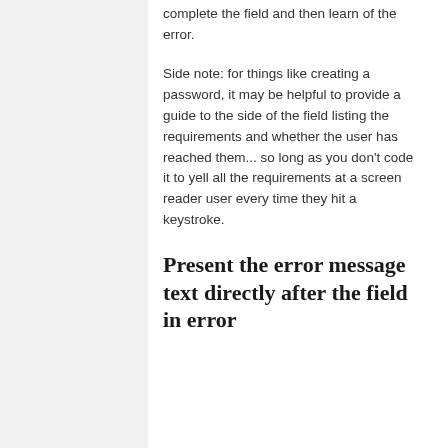complete the field and then learn of the error.
Side note: for things like creating a password, it may be helpful to provide a guide to the side of the field listing the requirements and whether the user has reached them... so long as you don't code it to yell all the requirements at a screen reader user every time they hit a keystroke.
Present the error message text directly after the field in error